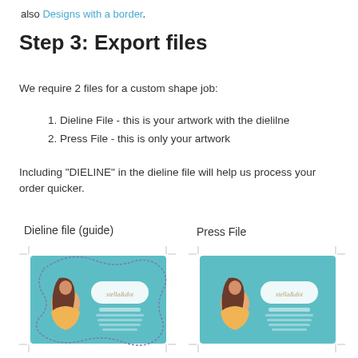also Designs with a border.
Step 3: Export files
We require 2 files for a custom shape job:
1. Dieline File - this is your artwork with the dielilne
2. Press File - this is only your artwork
Including "DIELINE" in the dieline file will help us process your order quicker.
Dieline file (guide)
Press File
[Figure (illustration): Dieline file example showing a teal business card with a wavy custom shape cutline overlay and a woman illustration with Stella & Dot branding]
[Figure (illustration): Press file example showing the same teal business card with woman illustration and Stella & Dot branding, without the dieline cutline]